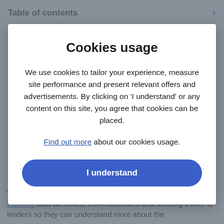Table of contents
Cookies usage
We use cookies to tailor your experience, measure site performance and present relevant offers and advertisements. By clicking on 'I understand' or any content on this site, you agree that cookies can be placed.
Find out more about our cookies usage.
I understand
We've optimised Funding Cloud (…) by utilising the Open Banking data we collect from customers and sending it over to lenders so they can understand more about the